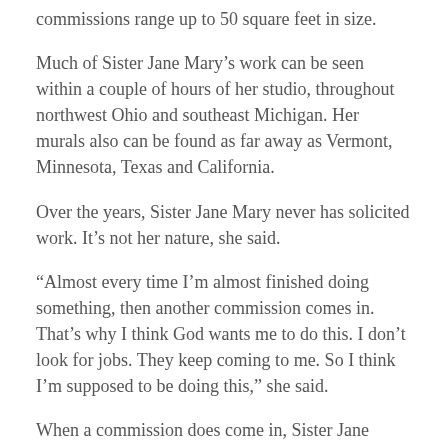commissions range up to 50 square feet in size.
Much of Sister Jane Mary’s work can be seen within a couple of hours of her studio, throughout northwest Ohio and southeast Michigan. Her murals also can be found as far away as Vermont, Minnesota, Texas and California.
Over the years, Sister Jane Mary never has solicited work. It’s not her nature, she said.
“Almost every time I’m almost finished doing something, then another commission comes in. That’s why I think God wants me to do this. I don’t look for jobs. They keep coming to me. So I think I’m supposed to be doing this,” she said.
When a commission does come in, Sister Jane Mary discusses it with the client to better understand what a mural is supposed to depict and where it will be displayed. When a client is unsure of what to show, Sister Jane Mary turns to prayer, asking the Holy Spirit for guidance to faithfully depict...